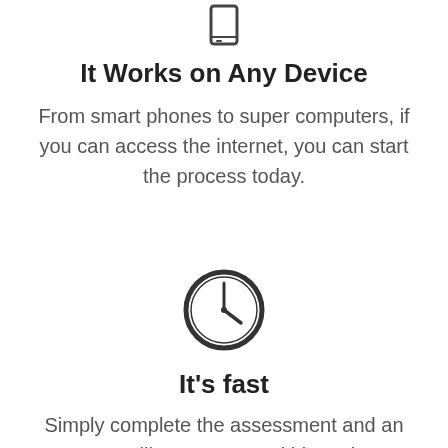[Figure (illustration): Small dark smartphone/tablet icon at the top of the section]
It Works on Any Device
From smart phones to super computers, if you can access the internet, you can start the process today.
[Figure (illustration): Clock icon showing roughly 4 o'clock time, dark circle outline with clock hands]
It's fast
Simply complete the assessment and an attorney will contact you within 72 hours with